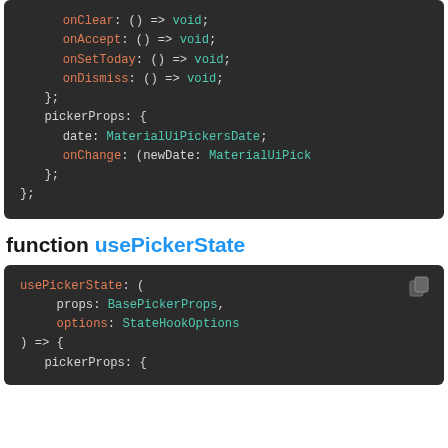[Figure (screenshot): Code block showing TypeScript interface properties: onClear, onAccept, onSetToday, onDismiss as () => void, closing brace, then pickerProps with date: MaterialUiPickersDate and onChange: (newDate: MaterialUiPick...]
function usePickerState
[Figure (screenshot): Code block showing usePickerState function signature: takes props: BasePickerProps, options: StateHookOptions, returns { pickerProps: {]